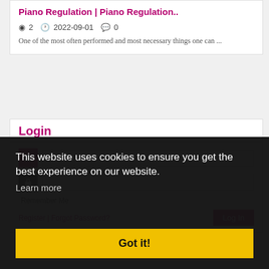Piano Regulation | Piano Regulation..
2  2022-09-01  0
One of the most often performed and most necessary things one can ...
Login
Email
Remember Me
Register | Forgot Password?   Log In
This website uses cookies to ensure you get the best experience on our website.
Learn more
Got it!